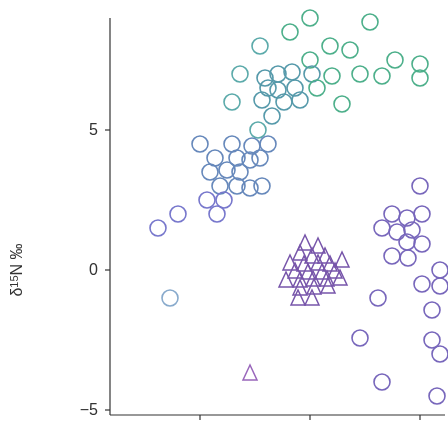[Figure (continuous-plot): Scatter plot showing δ¹⁵N ‰ on the y-axis (ranging from about -5 to above 5) vs an unlabeled x-axis. Two groups of data points: open circles in teal/green-blue colors clustered in upper-left to upper-center region (values roughly +2 to +9 on y-axis), and open triangles in purple clustered around 0 on y-axis in the center, plus scattered purple open circles in lower-right region (values roughly -5 to +3 on y-axis). Y-axis tick labels: -5, 0, 5.]